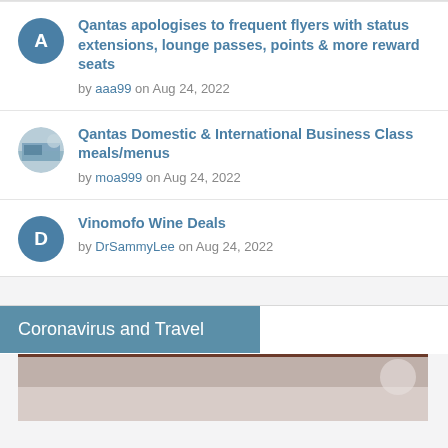Qantas apologises to frequent flyers with status extensions, lounge passes, points & more reward seats
by aaa99 on Aug 24, 2022
Qantas Domestic & International Business Class meals/menus
by moa999 on Aug 24, 2022
Vinomofo Wine Deals
by DrSammyLee on Aug 24, 2022
Coronavirus and Travel
[Figure (photo): Partially visible image at the bottom of the page, appears to be a travel-related photo with brown/beige tones]